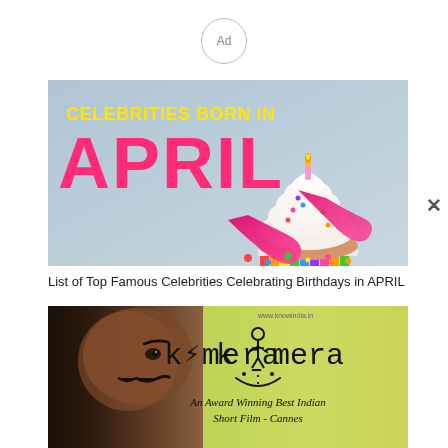[Figure (other): Ad label circle with 'Ad' text]
[Figure (illustration): Promotional image with text 'CELEBRITIES BORN IN APRIL' in yellow and pink fonts on a light blue background with a birthday cupcake and ribbon]
List of Top Famous Celebrities Celebrating Birthdays in APRIL
[Figure (photo): Film poster for 'kAmera' - An Award Winning Best Indian Short Film - Cannes, showing a man's face on the left and a yellow-green background with stylized text on the right]